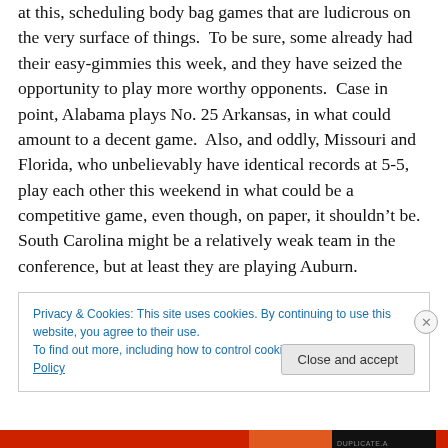at this, scheduling body bag games that are ludicrous on the very surface of things.  To be sure, some already had their easy-gimmies this week, and they have seized the opportunity to play more worthy opponents.  Case in point, Alabama plays No. 25 Arkansas, in what could amount to a decent game.  Also, and oddly, Missouri and Florida, who unbelievably have identical records at 5-5, play each other this weekend in what could be a competitive game, even though, on paper, it shouldn't be.  South Carolina might be a relatively weak team in the conference, but at least they are playing Auburn.
Privacy & Cookies: This site uses cookies. By continuing to use this website, you agree to their use.
To find out more, including how to control cookies, see here: Cookie Policy